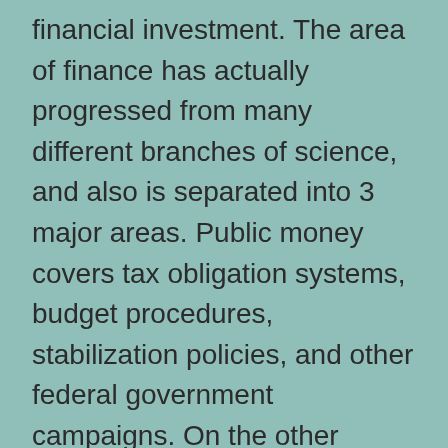financial investment. The area of finance has actually progressed from many different branches of science, and also is separated into 3 major areas. Public money covers tax obligation systems, budget procedures, stabilization policies, and other federal government campaigns. On the other hand, business money entails managing properties, obligations, as well as profits of companies. Personal finance take care of budgeting, home loan planning, and conserving.
The area of finance is really broad and includes several disciplines. It consists of the